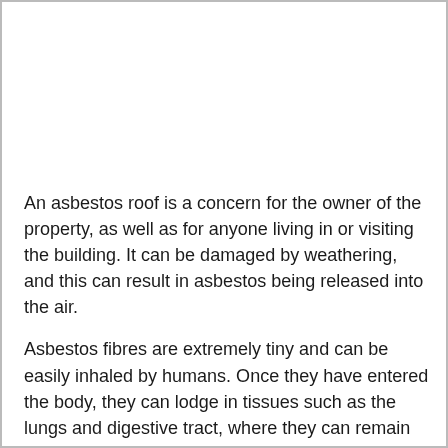An asbestos roof is a concern for the owner of the property, as well as for anyone living in or visiting the building. It can be damaged by weathering, and this can result in asbestos being released into the air.
Asbestos fibres are extremely tiny and can be easily inhaled by humans. Once they have entered the body, they can lodge in tissues such as the lungs and digestive tract, where they can remain for years without causing any symptoms. However, if damaged by weathering or other factors, they may become friable - meaning that they can easily break down into smaller particles that can be easily inhaled by others who come into contact with them.
Asbestos is still present in many buildings today because it was used so widely for so long; therefore, it is vital that anyone who